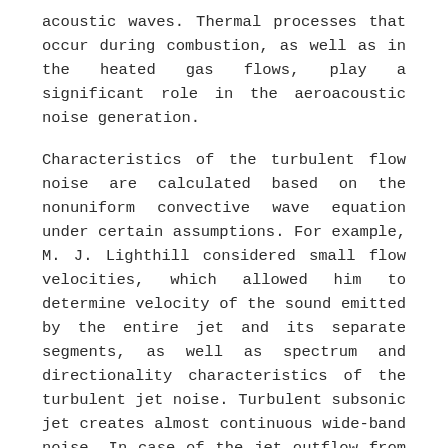acoustic waves. Thermal processes that occur during combustion, as well as in the heated gas flows, play a significant role in the aeroacoustic noise generation.
Characteristics of the turbulent flow noise are calculated based on the nonuniform convective wave equation under certain assumptions. For example, M. J. Lighthill considered small flow velocities, which allowed him to determine velocity of the sound emitted by the entire jet and its separate segments, as well as spectrum and directionality characteristics of the turbulent jet noise. Turbulent subsonic jet creates almost continuous wide-band noise. In case of the jet outflow from the nozzle, high-frequency noise is emitted near the nozzle, and low-frequency noise is emitted farther away from the nozzle, with